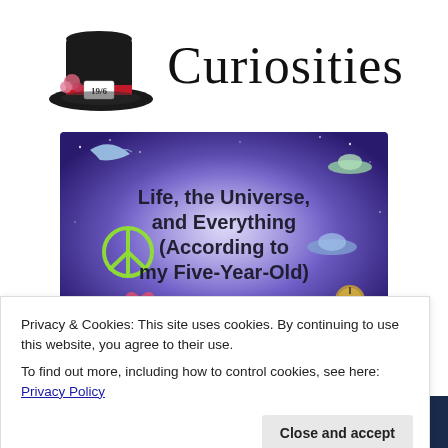[Figure (logo): 19/6 Curiosities logo: a black top hat with a red band and pink roses, labeled '19/6', next to the cursive text 'Curiosities']
[Figure (illustration): Book cover image with purple/blue galaxy background featuring dolphins, UFO, peace sign, hearts, compass. Text reads: 'Life, the Universe, and Everything (According to my Five-Year-Old)']
Privacy & Cookies: This site uses cookies. By continuing to use this website, you agree to their use.
To find out more, including how to control cookies, see here: Privacy Policy
[Figure (photo): Partial bottom strip image showing colorful book covers including one labeled 'Anstice' and 'Post.']